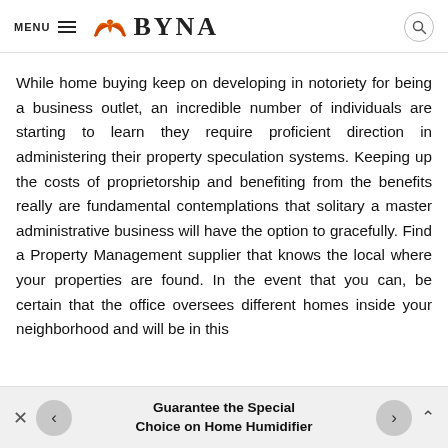MENU  W BYNA
While home buying keep on developing in notoriety for being a business outlet, an incredible number of individuals are starting to learn they require proficient direction in administering their property speculation systems. Keeping up the costs of proprietorship and benefiting from the benefits really are fundamental contemplations that solitary a master administrative business will have the option to gracefully. Find a Property Management supplier that knows the local where your properties are found. In the event that you can, be certain that the office oversees different homes inside your neighborhood and will be in this
Guarantee the Special Choice on Home Humidifier